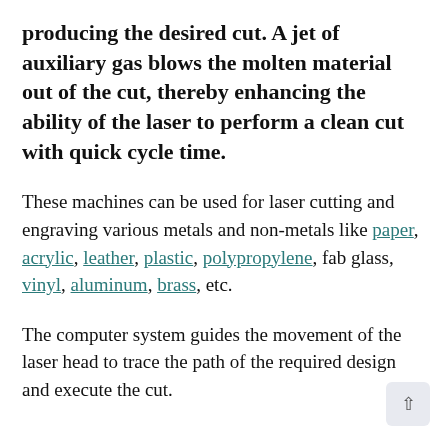producing the desired cut. A jet of auxiliary gas blows the molten material out of the cut, thereby enhancing the ability of the laser to perform a clean cut with quick cycle time.
These machines can be used for laser cutting and engraving various metals and non-metals like paper, acrylic, leather, plastic, polypropylene, fab glass, vinyl, aluminum, brass, etc.
The computer system guides the movement of the laser head to trace the path of the required design and execute the cut.